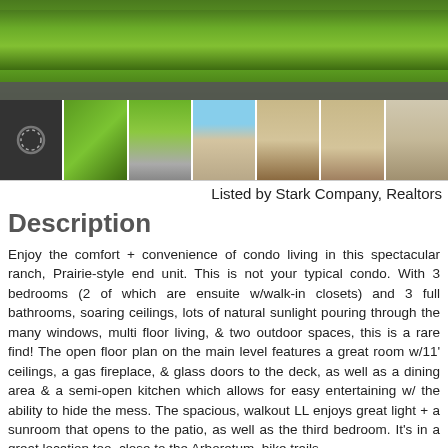[Figure (photo): Main photo of green lawn/field, large landscape outdoor photo of a property with lush green grass]
[Figure (photo): Row of 7 thumbnail photos: dark loading spinner, green trees, driveway/road, house exterior, living room, living room with TV, interior room]
Listed by Stark Company, Realtors
Description
Enjoy the comfort + convenience of condo living in this spectacular ranch, Prairie-style end unit. This is not your typical condo. With 3 bedrooms (2 of which are ensuite w/walk-in closets) and 3 full bathrooms, soaring ceilings, lots of natural sunlight pouring through the many windows, multi floor living, & two outdoor spaces, this is a rare find! The open floor plan on the main level features a great room w/11' ceilings, a gas fireplace, & glass doors to the deck, as well as a dining area & a semi-open kitchen which allows for easy entertaining w/ the ability to hide the mess. The spacious, walkout LL enjoys great light + a sunroom that opens to the patio, as well as the third bedroom. It's in a great location too, close to the Arboretum, bike trails